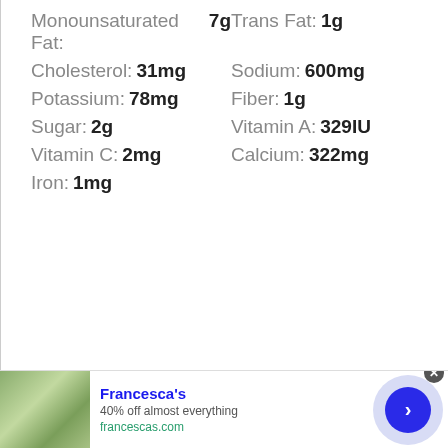Monounsaturated Fat: 7g  Trans Fat: 1g
Cholesterol: 31mg  Sodium: 600mg
Potassium: 78mg  Fiber: 1g
Sugar: 2g  Vitamin A: 329IU
Vitamin C: 2mg  Calcium: 322mg
Iron: 1mg
[Figure (photo): Advertisement banner for Francesca's showing two women outdoors, with text '40% off almost everything' and 'francescas.com', a navigation arrow button]